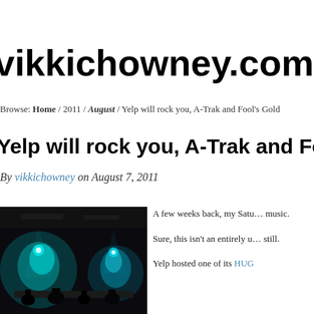vikkichowney.com
Browse: Home / 2011 / August / Yelp will rock you, A-Trak and Fool's Gold
Yelp will rock you, A-Trak and Fool's Go…
By vikkichowney on August 7, 2011
[Figure (photo): Dark concert venue with teal/blue stage lighting and silhouettes of people]
A few weeks back, my Satu… music.

Sure, this isn't an entirely u… still.

Yelp hosted one of its HUG…